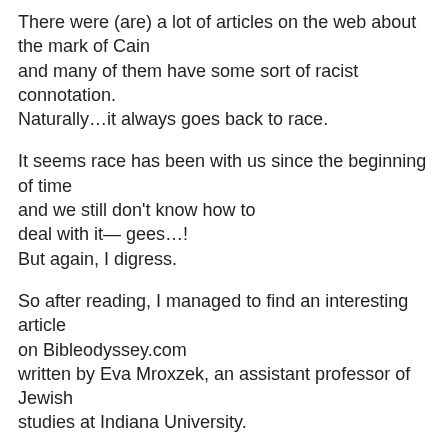There were (are) a lot of articles on the web about the mark of Cain and many of them have some sort of racist connotation. Naturally…it always goes back to race.
It seems race has been with us since the beginning of time and we still don't know how to deal with it— gees…! But again, I digress.
So after reading, I managed to find an interesting article on Bibleodyssey.com written by Eva Mroxzek, an assistant professor of Jewish studies at Indiana University.
She hit on the whole good mark, bad mark thinking… Cain killed his brother and God marked him for life. The question was or is— was or is the mark a mark of